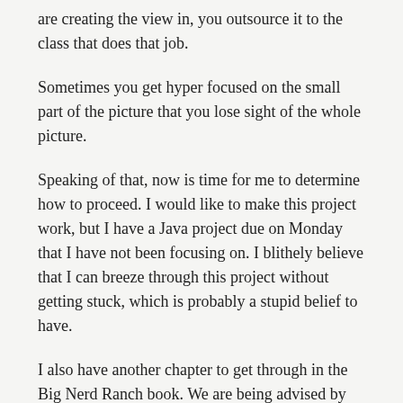are creating the view in, you outsource it to the class that does that job.
Sometimes you get hyper focused on the small part of the picture that you lose sight of the whole picture.
Speaking of that, now is time for me to determine how to proceed. I would like to make this project work, but I have a Java project due on Monday that I have not been focusing on. I blithely believe that I can breeze through this project without getting stuck, which is probably a stupid belief to have.
I also have another chapter to get through in the Big Nerd Ranch book. We are being advised by Eric to do the same amount of work, but to do it a week early. So he is saying we should work a chapter ahead. This requires me to read three chapters: Last week, this week, and next week.